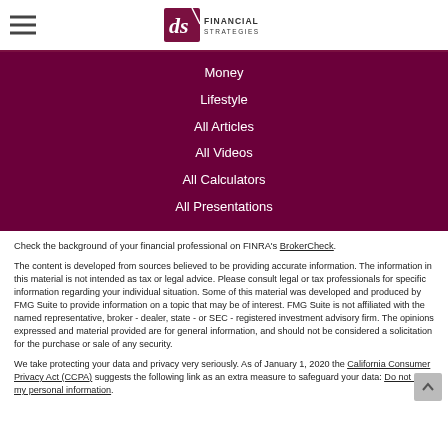[Figure (logo): DS Financial Strategies logo with hamburger menu icon]
Money
Lifestyle
All Articles
All Videos
All Calculators
All Presentations
Check the background of your financial professional on FINRA's BrokerCheck.
The content is developed from sources believed to be providing accurate information. The information in this material is not intended as tax or legal advice. Please consult legal or tax professionals for specific information regarding your individual situation. Some of this material was developed and produced by FMG Suite to provide information on a topic that may be of interest. FMG Suite is not affiliated with the named representative, broker - dealer, state - or SEC - registered investment advisory firm. The opinions expressed and material provided are for general information, and should not be considered a solicitation for the purchase or sale of any security.
We take protecting your data and privacy very seriously. As of January 1, 2020 the California Consumer Privacy Act (CCPA) suggests the following link as an extra measure to safeguard your data: Do not sell my personal information.